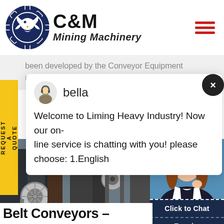C&M Mining Machinery
been developed by the Conveyor Equipment nufacturer's Association (CEMA).
[Figure (screenshot): Chat popup from bella: Welcome to Liming Heavy Industry! Now our on-line service is chatting with you! please choose: 1.English]
[Figure (photo): Industrial machinery photo showing belt conveyor pulleys and equipment]
[Figure (photo): Customer service agent photo with notification badge showing 1, Click to Chat button, and Enquiry button]
Belt Conveyors – FEECO I